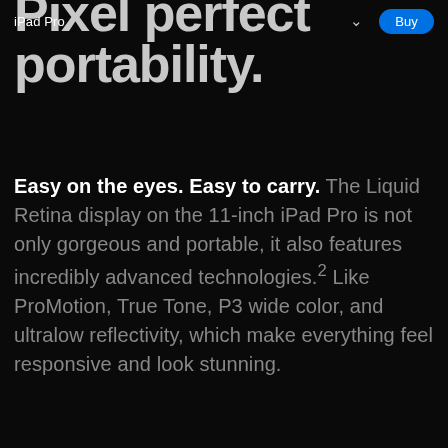iPad Pro  Buy
pixel perfect portability.
Easy on the eyes. Easy to carry. The Liquid Retina display on the 11-inch iPad Pro is not only gorgeous and portable, it also features incredibly advanced technologies.² Like ProMotion, True Tone, P3 wide color, and ultralow reflectivity, which make everything feel responsive and look stunning.